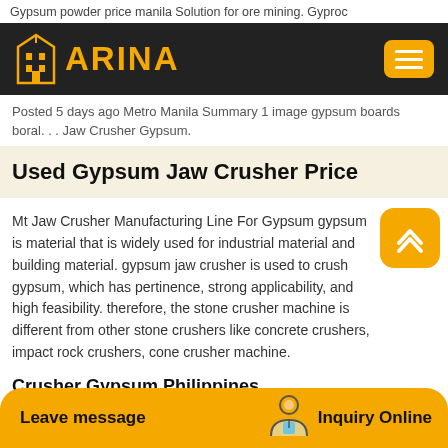Gypsum powder price manila Solution for ore mining. Gyproc
[Figure (logo): ARINA logo with building icon on dark background, yellow hamburger menu button on right]
Posted 5 days ago Metro Manila Summary 1 image gypsum boards boral. . . Jaw Crusher Gypsum.
Used Gypsum Jaw Crusher Price
Mt Jaw Crusher Manufacturing Line For Gypsum gypsum is material that is widely used for industrial material and building material. gypsum jaw crusher is used to crush gypsum, which has pertinence, strong applicability, and high feasibility. therefore, the stone crusher machine is different from other stone crushers like concrete crushers, impact rock crushers, cone crusher machine.
Crusher Gypsum Philippines
Leave message   Inquiry Online